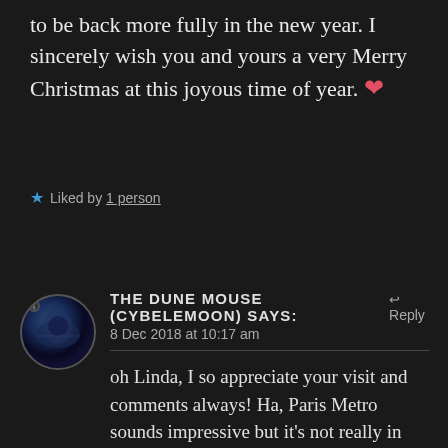to be back more fully in the new year. I sincerely wish you and yours a very Merry Christmas at this joyous time of year. ❤
★ Liked by 1 person
THE DUNE MOUSE (CYBELEMOON) says: 8 Dec 2018 at 10:17 am
oh Linda, I so appreciate your visit and comments always! Ha, Paris Metro sounds impressive but it's not really in Paris lol, I wish! May the baby Jesus and all